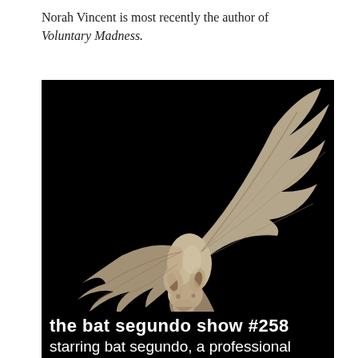Norah Vincent is most recently the author of Voluntary Madness.
[Figure (photo): A bat in flight against a black background, wings fully spread, with large ears and open mouth. Overlaid text at the bottom reads 'the bat segundo show #258' and 'starring bat segundo, a professional']